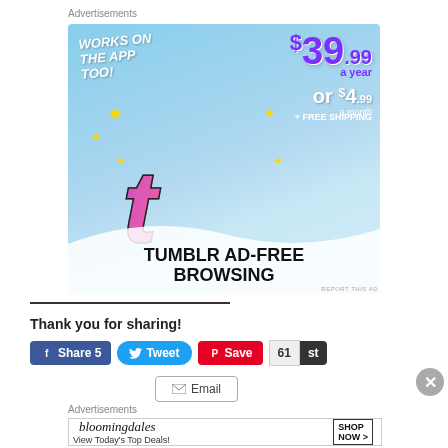Advertisements
[Figure (illustration): Tumblr Ad-Free Browsing advertisement showing Tumblr logo, pricing $39.99 a year or $4.99 a month plus free shipping, with text 'Works on the App Too!']
Thank you for sharing!
Share 5  Tweet  Save  61  st
Email
Advertisements
[Figure (illustration): Bloomingdales advertisement: View Today's Top Deals! SHOP NOW >]